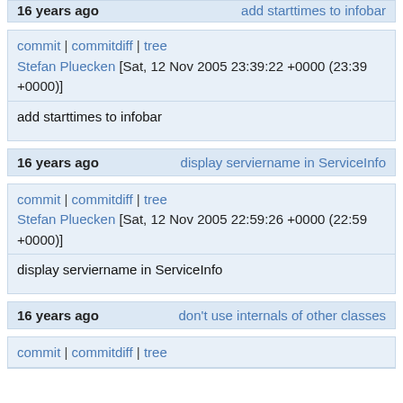16 years ago | add starttimes to infobar
commit | commitdiff | tree
Stefan Pluecken [Sat, 12 Nov 2005 23:39:22 +0000 (23:39 +0000)]
add starttimes to infobar
16 years ago | display serviername in ServiceInfo
commit | commitdiff | tree
Stefan Pluecken [Sat, 12 Nov 2005 22:59:26 +0000 (22:59 +0000)]
display serviername in ServiceInfo
16 years ago | don't use internals of other classes
commit | commitdiff | tree